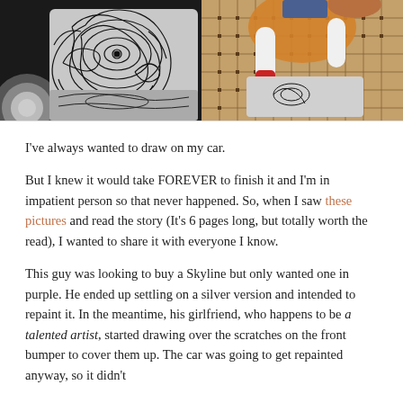[Figure (photo): Two photos side by side: left shows a car bumper with intricate black and white swirling artistic drawings; right shows a woman drawing/sketching on a surface with art supplies visible.]
I've always wanted to draw on my car.
But I knew it would take FOREVER to finish it and I'm in impatient person so that never happened. So, when I saw these pictures and read the story (It's 6 pages long, but totally worth the read), I wanted to share it with everyone I know.
This guy was looking to buy a Skyline but only wanted one in purple. He ended up settling on a silver version and intended to repaint it. In the meantime, his girlfriend, who happens to be a talented artist, started drawing over the scratches on the front bumper to cover them up. The car was going to get repainted anyway, so it didn't really matter...